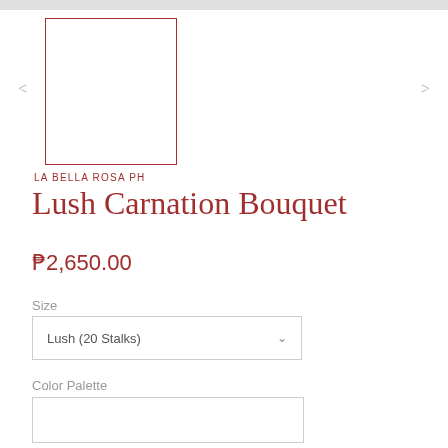[Figure (photo): Product thumbnail image placeholder — white square with dark red/maroon border, representing a flower bouquet product photo]
LA BELLA ROSA PH
Lush Carnation Bouquet
₱2,650.00
Size
Lush (20 Stalks)
Color Palette